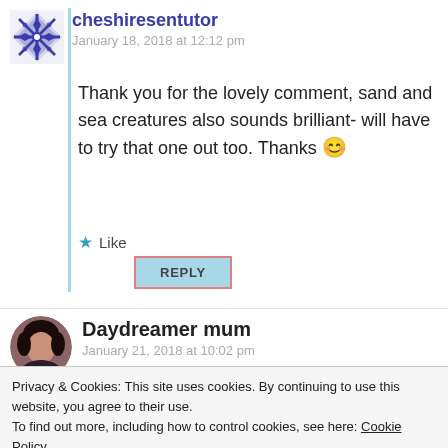[Figure (illustration): Blue geometric snowflake/diamond avatar for cheshiresentutor]
cheshiresentutor
January 18, 2018 at 12:12 pm
Thank you for the lovely comment, sand and sea creatures also sounds brilliant- will have to try that one out too. Thanks 😊
★ Like
REPLY
[Figure (photo): Round avatar photo of a woman with dark hair for Daydreamer mum]
Daydreamer mum
January 21, 2018 at 10:02 pm
Privacy & Cookies: This site uses cookies. By continuing to use this website, you agree to their use.
To find out more, including how to control cookies, see here: Cookie Policy
Close and accept